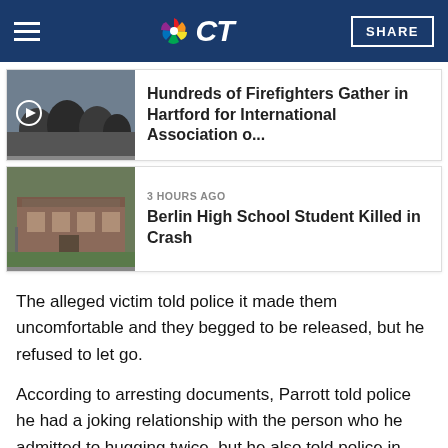NBC CT
[Figure (photo): Thumbnail photo of firefighters gathering outdoors]
Hundreds of Firefighters Gather in Hartford for International Association o...
[Figure (photo): Thumbnail photo of Berlin High School building]
3 HOURS AGO
Berlin High School Student Killed in Crash
The alleged victim told police it made them uncomfortable and they begged to be released, but he refused to let go.
According to arresting documents, Parrott told police he had a joking relationship with the person who he admitted to hugging twice, but he also told police in those documents that he did feel like he was crossing the line.
“I think it’s something quite horrible. It’s something that